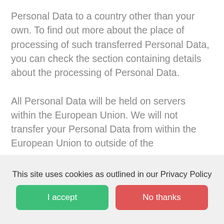Personal Data to a country other than your own. To find out more about the place of processing of such transferred Personal Data, you can check the section containing details about the processing of Personal Data.

All Personal Data will be held on servers within the European Union. We will not transfer your Personal Data from within the European Union to outside of the
This site uses cookies as outlined in our Privacy Policy
I accept
No thanks